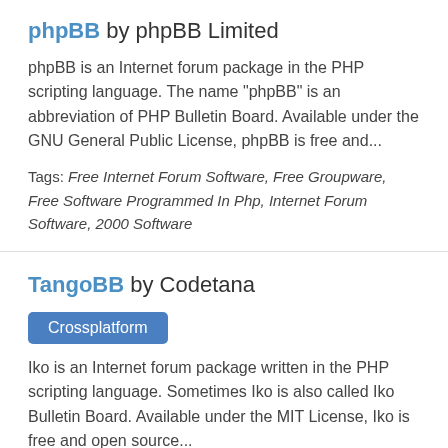phpBB by phpBB Limited
phpBB is an Internet forum package in the PHP scripting language. The name "phpBB" is an abbreviation of PHP Bulletin Board. Available under the GNU General Public License, phpBB is free and...
Tags: Free Internet Forum Software, Free Groupware, Free Software Programmed In Php, Internet Forum Software, 2000 Software
TangoBB by Codetana
Crossplatform
Iko is an Internet forum package written in the PHP scripting language. Sometimes Iko is also called Iko Bulletin Board. Available under the MIT License, Iko is free and open source...